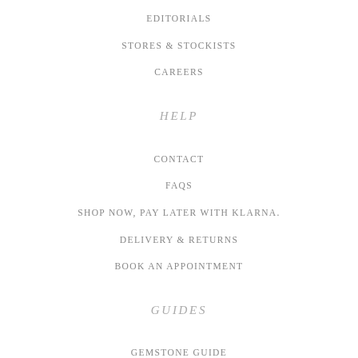EDITORIALS
STORES & STOCKISTS
CAREERS
HELP
CONTACT
FAQS
SHOP NOW, PAY LATER WITH KLARNA.
DELIVERY & RETURNS
BOOK AN APPOINTMENT
GUIDES
GEMSTONE GUIDE